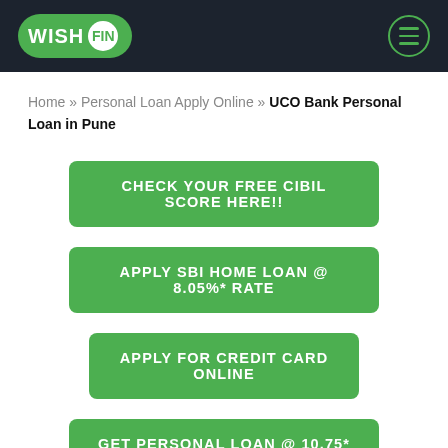WISH FIN
Home » Personal Loan Apply Online » UCO Bank Personal Loan in Pune
CHECK YOUR FREE CIBIL SCORE HERE!!
APPLY SBI HOME LOAN @ 8.05%* RATE
APPLY FOR CREDIT CARD ONLINE
GET PERSONAL LOAN @ 10.75* RATE